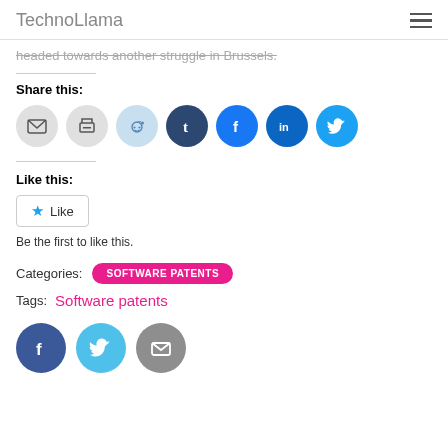TechnoLlama
headed towards another struggle in Brussels.
Share this:
[Figure (infographic): Row of social sharing icon buttons: email, print, Reddit, Tumblr, Facebook, LinkedIn, Twitter]
Like this:
Like
Be the first to like this.
Categories: SOFTWARE PATENTS
Tags: Software patents
[Figure (infographic): Three circular social media footer icons: Facebook (dark blue), Twitter (light blue), Email (gray)]